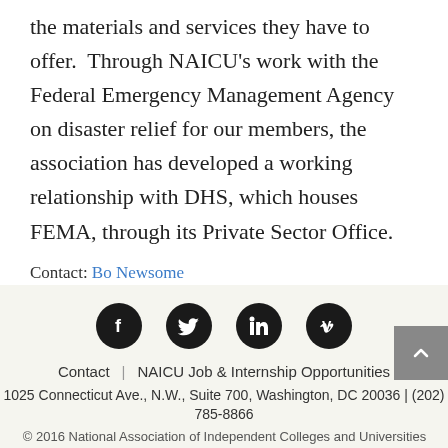the materials and services they have to offer.  Through NAICU's work with the Federal Emergency Management Agency on disaster relief for our members, the association has developed a working relationship with DHS, which houses FEMA, through its Private Sector Office.
Contact: Bo Newsome
[Figure (other): Social media icons row: Facebook, Twitter, LinkedIn, Vimeo — black circles with white logos]
Contact  |  NAICU Job & Internship Opportunities
1025 Connecticut Ave., N.W., Suite 700, Washington, DC 20036 | (202) 785-8866
© 2016 National Association of Independent Colleges and Universities